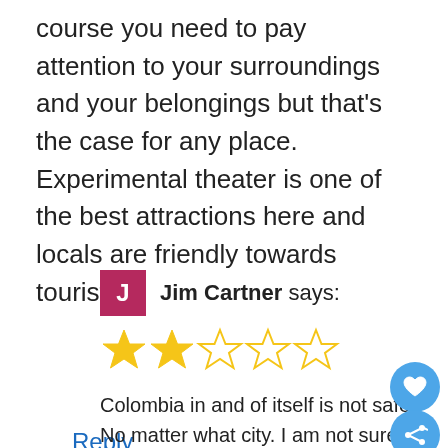course you need to pay attention to your surroundings and your belongings but that's the case for any place. Experimental theater is one of the best attractions here and locals are friendly towards tourists.
Reply
Jim Cartner says:
[Figure (other): 2 out of 5 star rating shown as filled and empty gold stars]
Colombia in and of itself is not safe. No matter what city. I am not sure what you are on about. I have been all over for work and I have had a number of issues myself. I